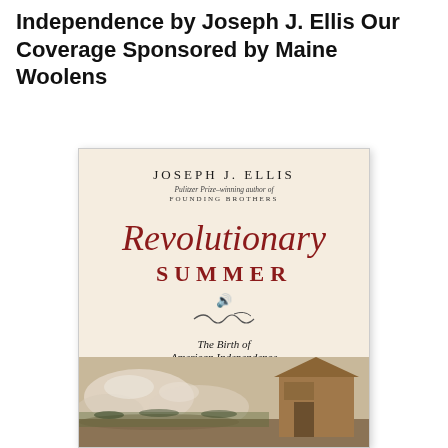Independence by Joseph J. Ellis Our Coverage Sponsored by Maine Woolens
[Figure (photo): Book cover of 'Revolutionary Summer: The Birth of American Independence' by Joseph J. Ellis. The cover shows an aged cream/beige background with the author's name at the top, the title in red script and serif lettering, subtitle in italic script, and a battle scene painting at the bottom showing soldiers and a wooden structure.]